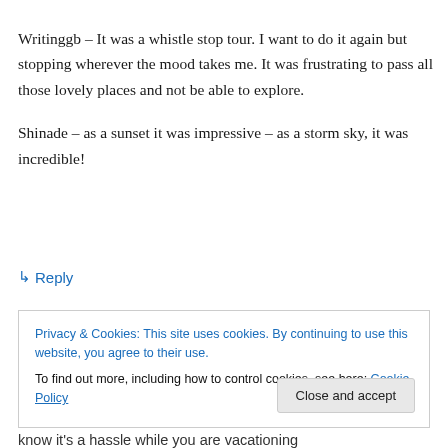Writinggb – It was a whistle stop tour. I want to do it again but stopping wherever the mood takes me. It was frustrating to pass all those lovely places and not be able to explore.

Shinade – as a sunset it was impressive – as a storm sky, it was incredible!
↳ Reply
Privacy & Cookies: This site uses cookies. By continuing to use this website, you agree to their use.
To find out more, including how to control cookies, see here: Cookie Policy
Close and accept
know it's a hassle while you are vacationing